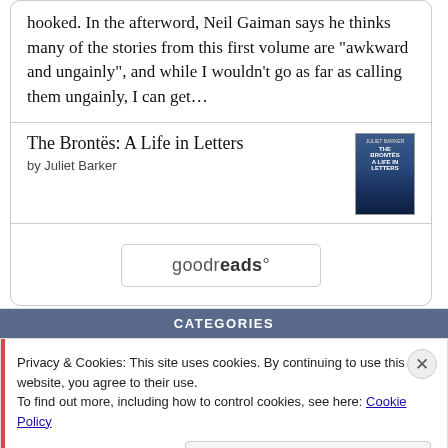hooked. In the afterword, Neil Gaiman says he thinks many of the stories from this first volume are "awkward and ungainly", and while I wouldn't go as far as calling them ungainly, I can get...
The Brontës: A Life in Letters by Juliet Barker
[Figure (illustration): Book cover of 'The Brontës: A Life in Letters' showing a dark blue cover with landscape image]
[Figure (logo): goodreads logo button with rounded rectangle border]
CATEGORIES
Privacy & Cookies: This site uses cookies. By continuing to use this website, you agree to their use.
To find out more, including how to control cookies, see here: Cookie Policy